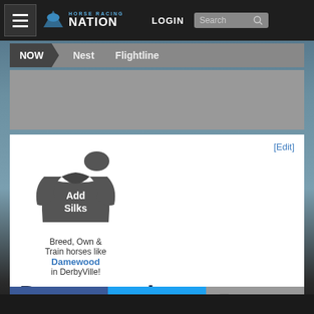HORSE RACING NATION | LOGIN | Search
NOW > Nest   Flightline
[Figure (illustration): Jockey silks placeholder icon with text 'Add Silks']
Breed, Own & Train horses like Damewood in DerbyVille!
Damewood
[Edit]
Share on Facebook   Share on Twitter   Share via Email